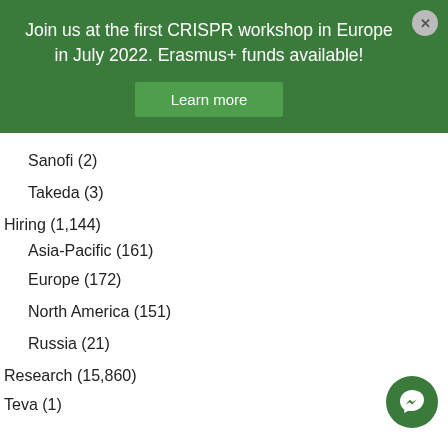Join us at the first CRISPR workshop in Europe in July 2022. Erasmus+ funds available!
Learn more
Sanofi (2)
Takeda (3)
Hiring (1,144)
Asia-Pacific (161)
Europe (172)
North America (151)
Russia (21)
Research (15,860)
Teva (1)